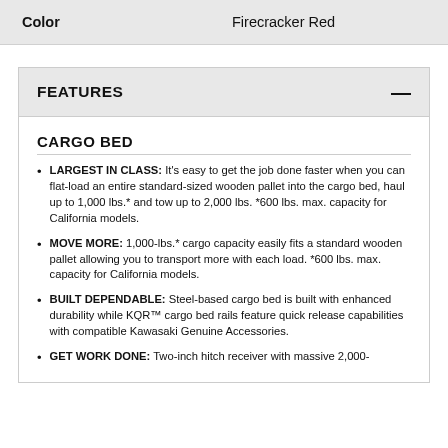| Color | Firecracker Red |
| --- | --- |
FEATURES
CARGO BED
LARGEST IN CLASS: It's easy to get the job done faster when you can flat-load an entire standard-sized wooden pallet into the cargo bed, haul up to 1,000 lbs.* and tow up to 2,000 lbs. *600 lbs. max. capacity for California models.
MOVE MORE: 1,000-lbs.* cargo capacity easily fits a standard wooden pallet allowing you to transport more with each load. *600 lbs. max. capacity for California models.
BUILT DEPENDABLE: Steel-based cargo bed is built with enhanced durability while KQR™ cargo bed rails feature quick release capabilities with compatible Kawasaki Genuine Accessories.
GET WORK DONE: Two-inch hitch receiver with massive 2,000-